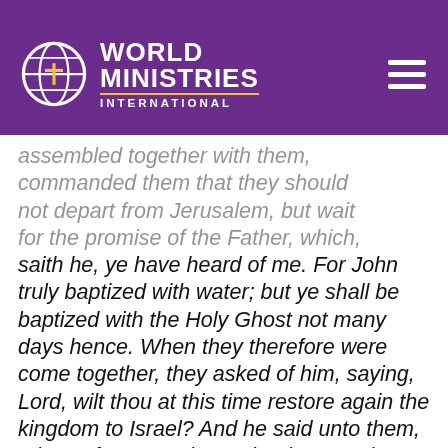World Ministries International
assembled together with them, commanded them that they should not depart from Jerusalem, but wait for the promise of the Father, which, saith he, ye have heard of me. For John truly baptized with water; but ye shall be baptized with the Holy Ghost not many days hence. When they therefore were come together, they asked of him, saying, Lord, wilt thou at this time restore again the kingdom to Israel? And he said unto them, It is not for you to know the times or the seasons, which the Father hath put in his own power. But ye shall receive power, after that the Holy Ghost is come upon you: and ye shall be witnesses unto me both in Jerusalem, and in all Judea, and in Samaria, and